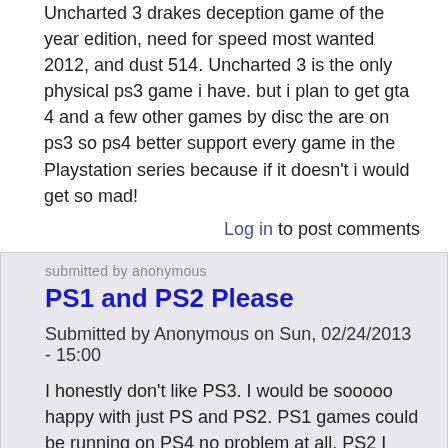Uncharted 3 drakes deception game of the year edition, need for speed most wanted 2012, and dust 514. Uncharted 3 is the only physical ps3 game i have. but i plan to get gta 4 and a few other games by disc the are on ps3 so ps4 better support every game in the Playstation series because if it doesn't i would get so mad!
Log in to post comments
PS1 and PS2 Please
Submitted by Anonymous on Sun, 02/24/2013 - 15:00
I honestly don't like PS3. I would be sooooo happy with just PS and PS2. PS1 games could be running on PS4 no problem at all. PS2 I don't know. Maybe 10 minutes ago I saw a different comment on this that told about a possible app on the ps4 that could be used to run PS1 and PS2 games once bought. I thought that was a fantastic idea. That could keep the price of the system